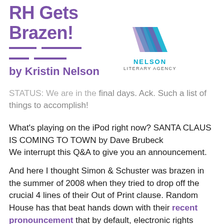RH Gets Brazen!
by Kristin Nelson
[Figure (logo): Nelson Literary Agency logo with stylized book/N graphic, text NELSON in teal and LITERARY AGENCY below]
STATUS: We are in the final days. Ack. Such a list of things to accomplish!
What’s playing on the iPod right now? SANTA CLAUS IS COMING TO TOWN by Dave Brubeck
We interrupt this Q&A to give you an announcement.
And here I thought Simon & Schuster was brazen in the summer of 2008 when they tried to drop off the crucial 4 lines of their Out of Print clause. Random House has that beat hands down with their recent pronouncement that by default, electronic rights belong to them via their definition of what is a “book” for any backlist title still in print.